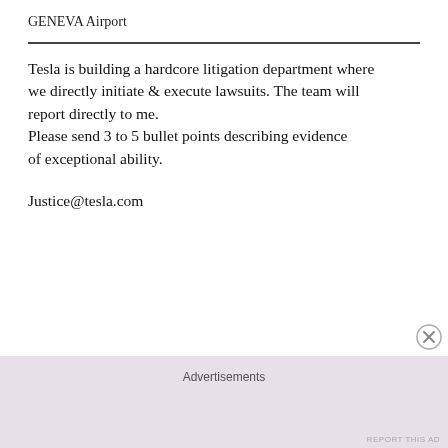GENEVA Airport
Tesla is building a hardcore litigation department where
we directly initiate & execute lawsuits. The team will report directly to me.
Please send 3 to 5 bullet points describing evidence of exceptional ability.
Justice@tesla.com
Advertisements